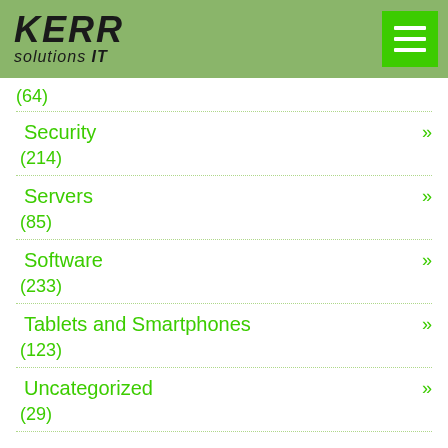KERR solutions IT
(64)
Security »
(214)
Servers »
(85)
Software »
(233)
Tablets and Smartphones »
(123)
Uncategorized »
(29)